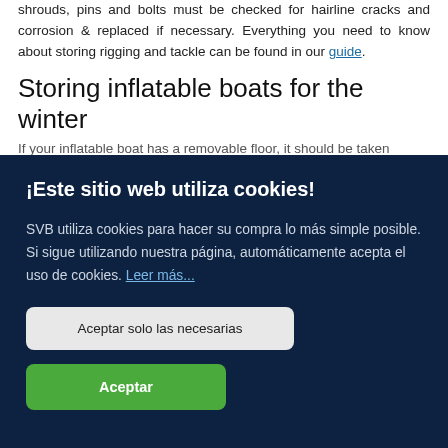shrouds, pins and bolts must be checked for hairline cracks and corrosion & replaced if necessary. Everything you need to know about storing rigging and tackle can be found in our guide.
Storing inflatable boats for the winter
If your inflatable boat has a removable floor, it should be taken
¡Este sitio web utiliza cookies!
SVB utiliza cookies para hacer su compra lo más simple posible. Si sigue utilizando nuestra página, automáticamente acepta el uso de cookies. Leer más...
Aceptar solo las necesarias
Aceptar